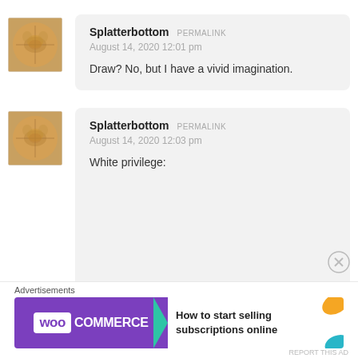[Figure (photo): Avatar image of a cat's fur/face, orange tabby, small square]
Splatterbottom PERMALINK
August 14, 2020 12:01 pm
Draw? No, but I have a vivid imagination.
[Figure (photo): Avatar image of a cat's fur/face, orange tabby, small square]
Splatterbottom PERMALINK
August 14, 2020 12:03 pm
White privilege:
Advertisements
[Figure (logo): WooCommerce advertisement banner: How to start selling subscriptions online]